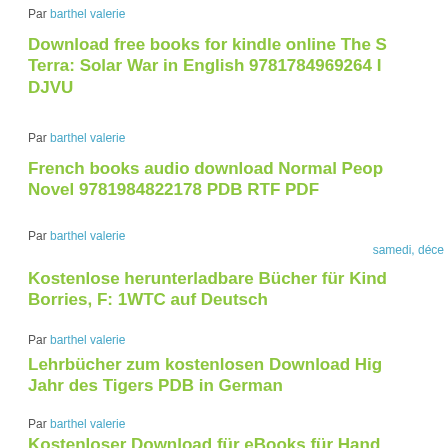Par barthel valerie
Download free books for kindle online The S Terra: Solar War in English 9781784969264 DJVU
Par barthel valerie
French books audio download Normal Peop Novel 9781984822178 PDB RTF PDF
Par barthel valerie
samedi, déce
Kostenlose herunterladbare Bücher für Kind Borries, F: 1WTC auf Deutsch
Par barthel valerie
Lehrbücher zum kostenlosen Download Hig Jahr des Tigers PDB in German
Par barthel valerie
Kostenloser Download für eBooks für Hand Süßer der Punsch nie tötet auf Deutsch von Friederike Schmöe